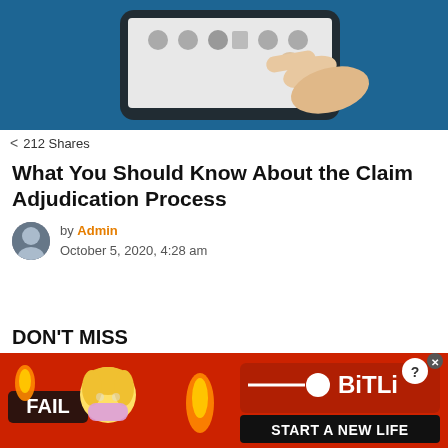[Figure (photo): Person pointing finger at a smartphone screen with app icons visible, on a blue background]
212 Shares
What You Should Know About the Claim Adjudication Process
by Admin
October 5, 2020, 4:28 am
DON'T MISS
[Figure (advertisement): BitLife mobile game advertisement banner with FAIL text, emoji characters, fire, and START A NEW LIFE tagline on red background]